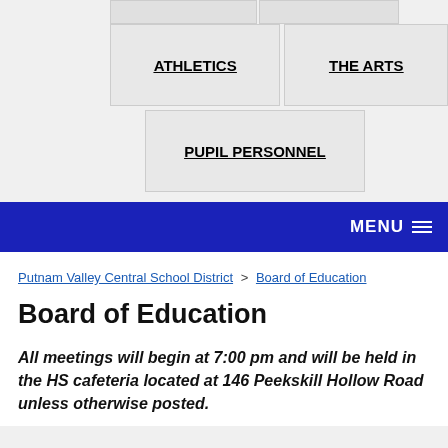[Figure (screenshot): Navigation menu items: ATHLETICS and THE ARTS boxes, then PUPIL PERSONNEL box below, then a blue MENU bar]
Putnam Valley Central School District > Board of Education
Board of Education
All meetings will begin at 7:00 pm and will be held in the HS cafeteria located at 146 Peekskill Hollow Road unless otherwise posted.